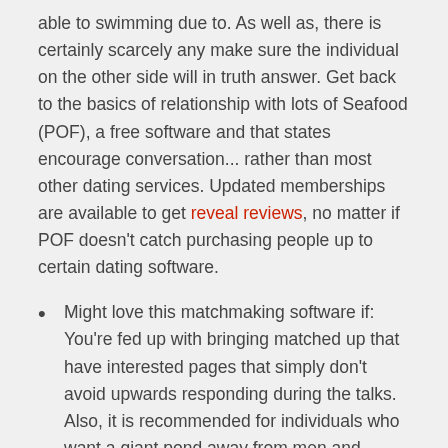able to swimming due to. As well as, there is certainly scarcely any make sure the individual on the other side will in truth answer. Get back to the basics of relationship with lots of Seafood (POF), a free software and that states encourage conversation... rather than most other dating services. Updated memberships are available to get reveal reviews, no matter if POF doesn't catch purchasing people up to certain dating software.
Might love this matchmaking software if: You're fed up with bringing matched up that have interested pages that simply don't avoid upwards responding during the talks. Also, it is recommended for individuals who want a giant pond away from men and women available and you can a variety of ways to work together with other people.
Does this keeps a made otherwise Paid down adaptation? Sure, POF has an 'Upgrade' solution